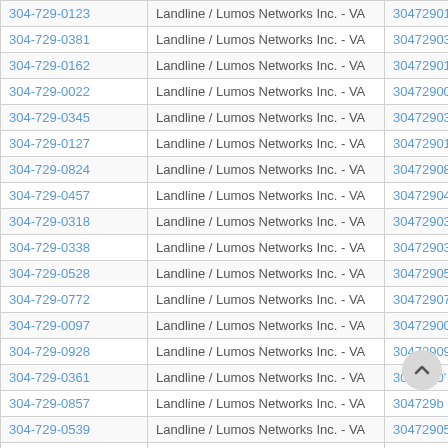| Phone | Type / Carrier | Number |
| --- | --- | --- |
| 304-729-0123 | Landline / Lumos Networks Inc. - VA | 3047290123 |
| 304-729-0381 | Landline / Lumos Networks Inc. - VA | 3047290381 |
| 304-729-0162 | Landline / Lumos Networks Inc. - VA | 3047290162 |
| 304-729-0022 | Landline / Lumos Networks Inc. - VA | 3047290022 |
| 304-729-0345 | Landline / Lumos Networks Inc. - VA | 3047290345 |
| 304-729-0127 | Landline / Lumos Networks Inc. - VA | 3047290127 |
| 304-729-0824 | Landline / Lumos Networks Inc. - VA | 3047290824 |
| 304-729-0457 | Landline / Lumos Networks Inc. - VA | 3047290457 |
| 304-729-0318 | Landline / Lumos Networks Inc. - VA | 3047290318 |
| 304-729-0338 | Landline / Lumos Networks Inc. - VA | 3047290338 |
| 304-729-0528 | Landline / Lumos Networks Inc. - VA | 3047290528 |
| 304-729-0772 | Landline / Lumos Networks Inc. - VA | 3047290772 |
| 304-729-0097 | Landline / Lumos Networks Inc. - VA | 3047290097 |
| 304-729-0928 | Landline / Lumos Networks Inc. - VA | 3047290928 |
| 304-729-0361 | Landline / Lumos Networks Inc. - VA | 3047290’ |
| 304-729-0857 | Landline / Lumos Networks Inc. - VA | 304729b |
| 304-729-0539 | Landline / Lumos Networks Inc. - VA | 3047290539 |
| 304-729-0768 | Landline / Lumos Networks Inc. - VA | 3047290768 |